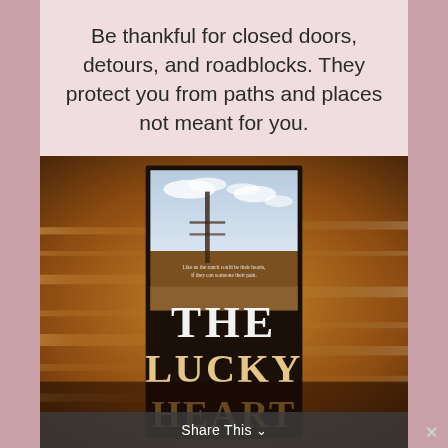Be thankful for closed doors, detours, and roadblocks. They protect you from paths and places not meant for you.
[Figure (photo): Book cover of 'The Lucky Heart' showing a rural field scene with a fence post, cloudy sky, and motion-blur effect. Large text reads 'THE LUCKY HEART'.]
Share This ∨  ✕